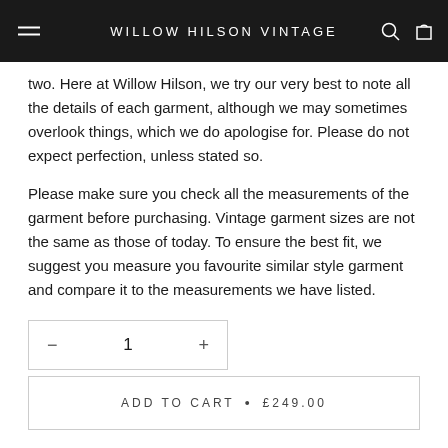WILLOW HILSON VINTAGE
two. Here at Willow Hilson, we try our very best to note all the details of each garment, although we may sometimes overlook things, which we do apologise for. Please do not expect perfection, unless stated so.
Please make sure you check all the measurements of the garment before purchasing. Vintage garment sizes are not the same as those of today. To ensure the best fit, we suggest you measure you favourite similar style garment and compare it to the measurements we have listed.
— 1 +
ADD TO CART • £249.00